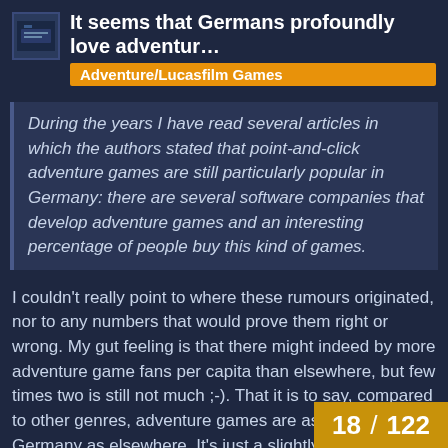It seems that Germans profoundly love adventur…
Adventure/Lucasfilm Games
During the years I have read several articles in which the authors stated that point-and-click adventure games are still particularly popular in Germany: there are several software companies that develop adventure games and an interesting percentage of people buy this kind of games.
I couldn't really point to where these rumours originated, nor to any numbers that would prove them right or wrong. My gut feeling is that there might indeed by more adventure game fans per capita than elsewhere, but few times two is still not much ;-). That it is to say, compared to other genres, adventure games are as niche in Germany as elsewhere. It's just a slightly larger niche. I think it's no coincidence that Daedalic, who traditionally were a pure P&C adventure company are expanding into other territories, as there is no more growth to be
18 / 122